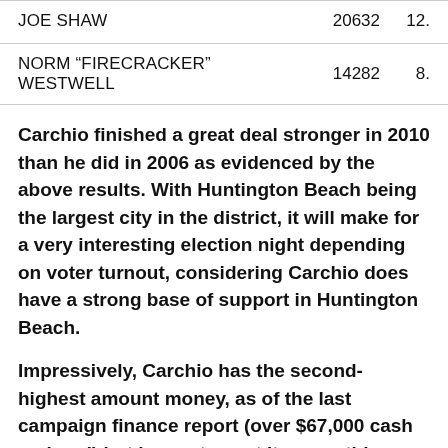| Name | Votes | Pct |
| --- | --- | --- |
| JOE SHAW | 20632 | 12. |
| NORM "FIRECRACKER" WESTWELL | 14282 | 8. |
Carchio finished a great deal stronger in 2010 than he did in 2006 as evidenced by the above results. With Huntington Beach being the largest city in the district, it will make for a very interesting election night depending on voter turnout, considering Carchio does have a strong base of support in Huntington Beach.
Impressively, Carchio has the second-highest amount money, as of the last campaign finance report (over $67,000 cash on hand) but has not spent it on anything tangible from what I have seen. I have not heard about any direct mail, slate mail, signs, or large...